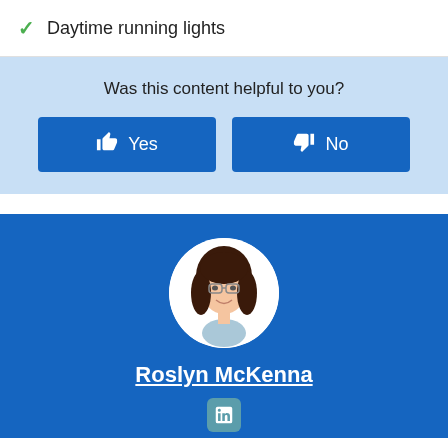✓ Daytime running lights
Was this content helpful to you?
👍 Yes
👎 No
[Figure (photo): Circular profile photo of Roslyn McKenna, a woman with dark hair and glasses, smiling]
Roslyn McKenna
[Figure (logo): LinkedIn icon badge]
Roslyn McKenna is an insurance expert who's